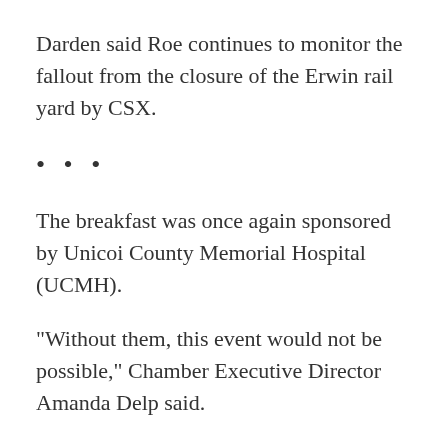Darden said Roe continues to monitor the fallout from the closure of the Erwin rail yard by CSX.
• • •
The breakfast was once again sponsored by Unicoi County Memorial Hospital (UCMH).
“Without them, this event would not be possible,” Chamber Executive Director Amanda Delp said.
The audience then heard an update on the hospital from UCMH Administrator Eric Carroll.
“First, I would like to mention some recent improvements we have been able to make at the hospital,” Carroll said. “. . . They are very minor, but we certainly think they are helping improve the patient experience in our current facility. As of two weeks ago